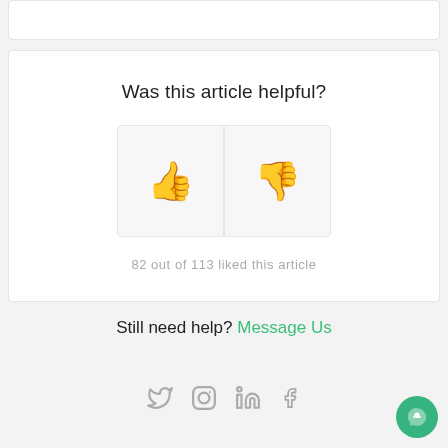Was this article helpful?
[Figure (other): Thumbs up and thumbs down voting buttons]
82 out of 113 liked this article
Still need help? Message Us
[Figure (other): Social media icons: Twitter, Instagram, LinkedIn, Facebook]